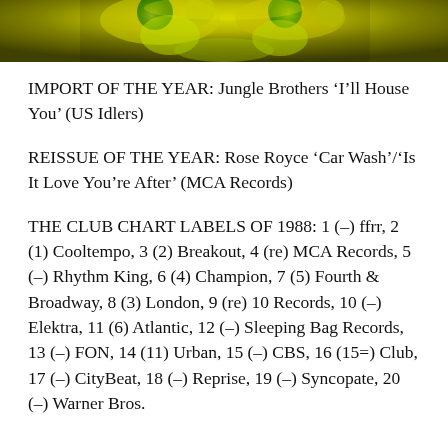[Figure (photo): Cropped photo strip showing colorful graphic art with yellow-green tones, appears to be album artwork for Jungle Brothers.]
IMPORT OF THE YEAR: Jungle Brothers 'I'll House You' (US Idlers)
REISSUE OF THE YEAR: Rose Royce 'Car Wash'/'Is It Love You're After' (MCA Records)
THE CLUB CHART LABELS OF 1988: 1 (–) ffrr, 2 (1) Cooltempo, 3 (2) Breakout, 4 (re) MCA Records, 5 (–) Rhythm King, 6 (4) Champion, 7 (5) Fourth & Broadway, 8 (3) London, 9 (re) 10 Records, 10 (–) Elektra, 11 (6) Atlantic, 12 (–) Sleeping Bag Records, 13 (–) FON, 14 (11) Urban, 15 (–) CBS, 16 (15=) Club, 17 (–) CityBeat, 18 (–) Reprise, 19 (–) Syncopate, 20 (–) Warner Bros.